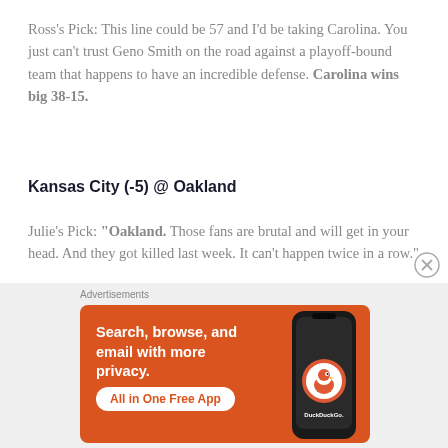Ross's Pick: This line could be 57 and I'd be taking Carolina. You just can't trust Geno Smith on the road against a playoff-bound team that happens to have an incredible defense. Carolina wins big 38-15.
Kansas City (-5) @ Oakland
Julie's Pick: "Oakland. Those fans are brutal and will get in your head. And they got killed last week. It can't happen twice in a row."
Ross's Pick: As I mentioned in Tuesday's recap column,
[Figure (other): DuckDuckGo advertisement banner with orange background. Text reads: Search, browse, and email with more privacy. All in One Free App. Shows a smartphone with DuckDuckGo logo.]